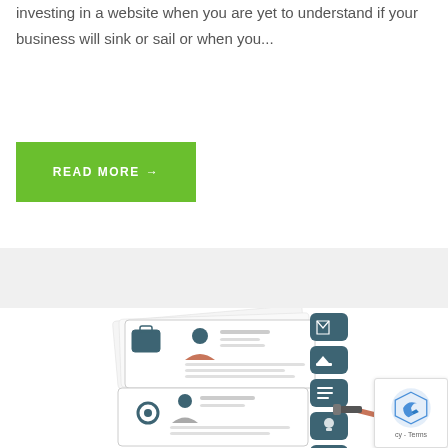investing in a website when you are yet to understand if your business will sink or sail or when you...
READ MORE →
[Figure (illustration): Illustration showing resume/profile cards with people icons, briefcase, gear icons, and mobile app icons on the left side; a woman looking through a telescope on the right side. A reCAPTCHA widget is partially visible in the bottom-right corner.]